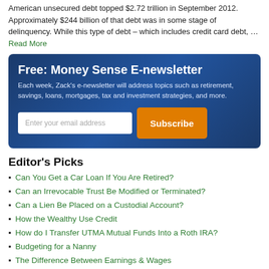American unsecured debt topped $2.72 trillion in September 2012. Approximately $244 billion of that debt was in some stage of delinquency. While this type of debt – which includes credit card debt, ... Read More
[Figure (other): Free: Money Sense E-newsletter subscription box with blue gradient background. Contains title 'Free: Money Sense E-newsletter', description text, email input field, and Subscribe button.]
Editor's Picks
Can You Get a Car Loan If You Are Retired?
Can an Irrevocable Trust Be Modified or Terminated?
Can a Lien Be Placed on a Custodial Account?
How the Wealthy Use Credit
How do I Transfer UTMA Mutual Funds Into a Roth IRA?
Budgeting for a Nanny
The Difference Between Earnings & Wages
What Is a Qualified Revocable Trust?
Severance vs. Retirement Package